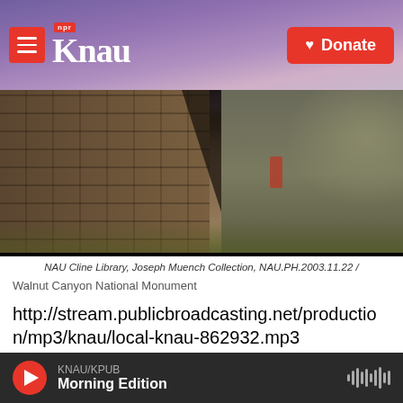KNAU NPR — Donate
[Figure (photo): Sepia-toned photo of ancient stone ruins at Walnut Canyon National Monument, with a person in red visible among rocky terrain and dry grass]
NAU Cline Library, Joseph Muench Collection, NAU.PH.2003.11.22 /
Walnut Canyon National Monument
http://stream.publicbroadcasting.net/production/mp3/knau/local-knau-862932.mp3
Flagstaff, AZ –
KNAU/KPUB Morning Edition